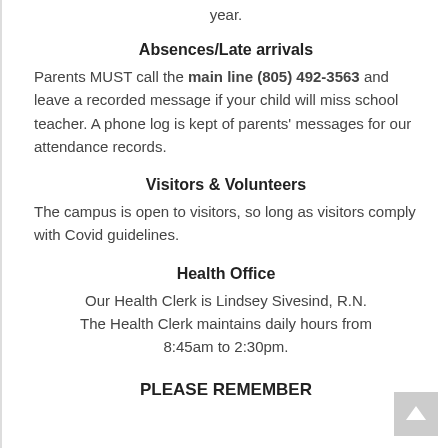year.
Absences/Late arrivals
Parents MUST call the main line (805) 492-3563 and leave a recorded message if your child will miss school teacher. A phone log is kept of parents' messages for our attendance records.
Visitors & Volunteers
The campus is open to visitors, so long as visitors comply with Covid guidelines.
Health Office
Our Health Clerk is Lindsey Sivesind, R.N. The Health Clerk maintains daily hours from 8:45am to 2:30pm.
PLEASE REMEMBER